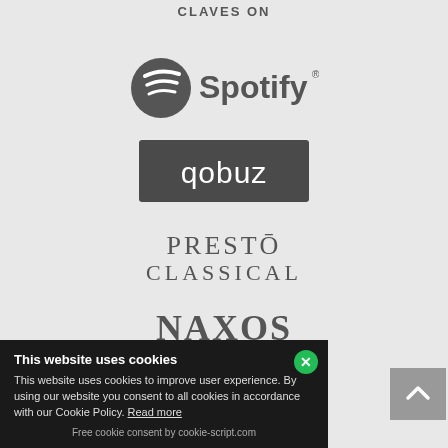CLAVES ON
[Figure (logo): Spotify logo with circular icon and wordmark]
[Figure (logo): Qobuz logo - white text on dark grey/charcoal rectangle]
[Figure (logo): Presto Classical logo - serif uppercase text]
[Figure (logo): Naxos Music Library logo - bold serif uppercase text]
This website uses cookies
This website uses cookies to improve user experience. By using our website you consent to all cookies in accordance with our Cookie Policy. Read more
Free cookie consent by cookie-script.com